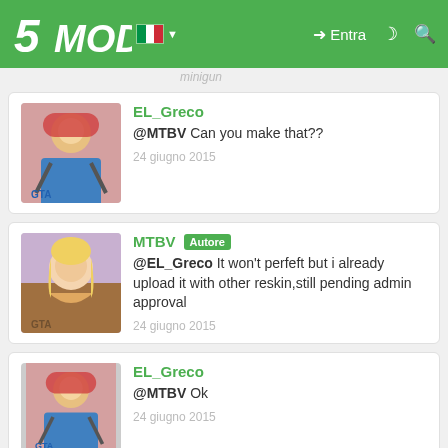5MODS — Entra
minigun
EL_Greco
@MTBV Can you make that??
24 giugno 2015
MTBV Autore
@EL_Greco It won't perfeft but i already upload it with other reskin,still pending admin approval
24 giugno 2015
EL_Greco
@MTBV Ok
24 giugno 2015
EL_Greco
@MTBV When are you going to uploade the minigun version??
25 giugno 2015